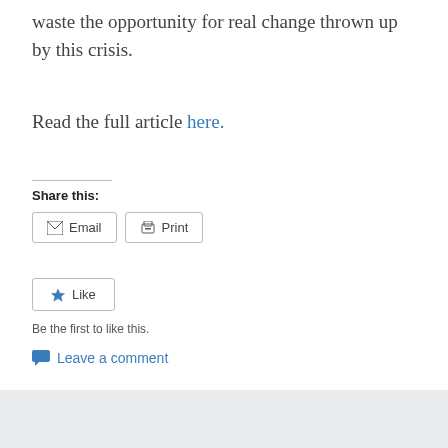waste the opportunity for real change thrown up by this crisis.
Read the full article here.
Share this:
Email  Print
Like  Be the first to like this.
Leave a comment
Th...